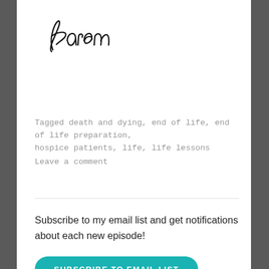[Figure (illustration): Handwritten signature reading 'Karen' in cursive script]
Tagged death and dying, end of life, end of life preparation, hospice patients, life, life lessons
Leave a comment
Subscribe to my email list and get notifications about each new episode!
SUBSCRIBE TO EMAIL LIST